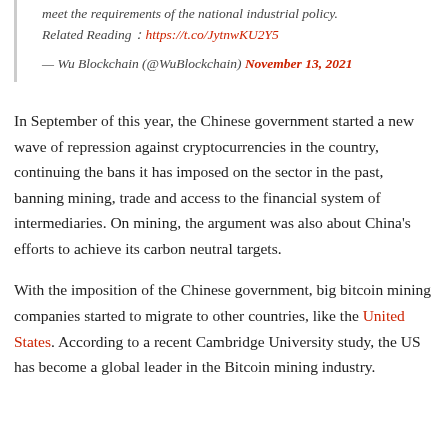meet the requirements of the national industrial policy. Related Reading： https://t.co/JytnwKU2Y5
— Wu Blockchain (@WuBlockchain) November 13, 2021
In September of this year, the Chinese government started a new wave of repression against cryptocurrencies in the country, continuing the bans it has imposed on the sector in the past, banning mining, trade and access to the financial system of intermediaries. On mining, the argument was also about China's efforts to achieve its carbon neutral targets.
With the imposition of the Chinese government, big bitcoin mining companies started to migrate to other countries, like the United States. According to a recent Cambridge University study, the US has become a global leader in the Bitcoin mining industry.